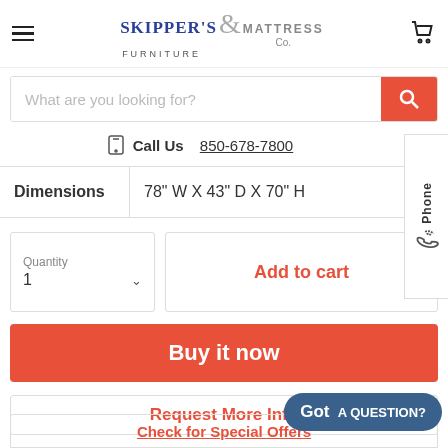Skipper's Furniture & Mattress Co.
What are you looking for?
Call Us 850-678-7800
| Dimensions | 78" W x 43" D x 70" H |
| --- | --- |
Quantity 1
Add to cart
Buy it now
Request More Info
Got A QUESTION?
Check for Special Offers